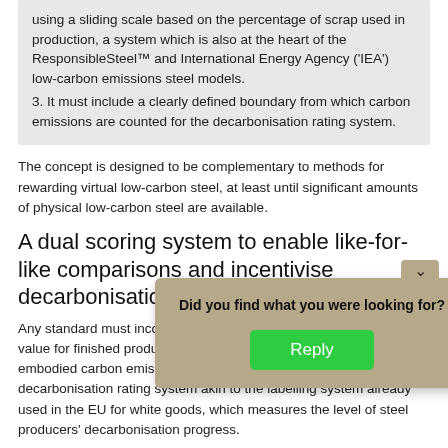using a sliding scale based on the percentage of scrap used in production, a system which is also at the heart of the ResponsibleSteel™ and International Energy Agency ('IEA') low-carbon emissions steel models.
3. It must include a clearly defined boundary from which carbon emissions are counted for the decarbonisation rating system.
The concept is designed to be complementary to methods for rewarding virtual low-carbon steel, at least until significant amounts of physical low-carbon steel are available.
A dual scoring system to enable like-for-like comparisons and incentivise decarbonisation
Any standard must incorporate a dual score consisting of: a LCA value for finished products so that customers can clearly see the embodied carbon emissions of the steel they purchase, and; a decarbonisation rating system akin to the labelling system already used in the EU for white goods, which measures the level of steel producers' decarbonisation progress.
Sliding scale based on percentage of scrap input
Any standard must incentivise all steel producers to progress towards net zero, irrespective of their production route. On a tonne of steel is heavily associated with secondary s footprint than primary an important ro ry, it is a